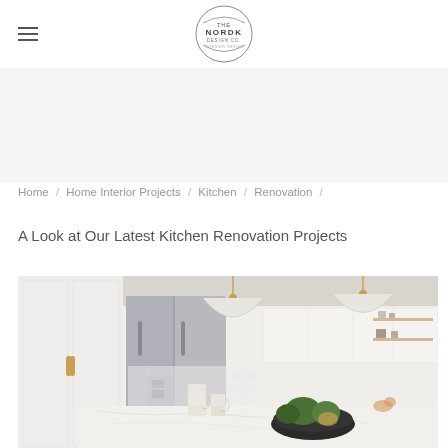The Nordk Design Co. — navigation header with hamburger menu and logo
Home / Home Interior Projects / Kitchen / Renovation /
A Look at Our Latest Kitchen Renovation Projects
[Figure (photo): Bright modern white kitchen with stainless steel refrigerator, white pendant lights with gold accents, marble island countertop with cream pitchers and dark bowl of produce, white shaker cabinets and open shelving in background]